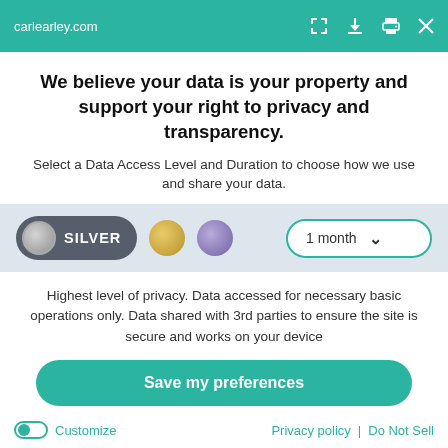carlearley.com
We believe your data is your property and support your right to privacy and transparency.
Select a Data Access Level and Duration to choose how we use and share your data.
[Figure (infographic): Data access level selector with SILVER pill selected (dark grey), a gold circle option, a purple circle option, and a '1 month' dropdown with teal border]
Highest level of privacy. Data accessed for necessary basic operations only. Data shared with 3rd parties to ensure the site is secure and works on your device
Save my preferences
Customize | Privacy policy | Do Not Sell